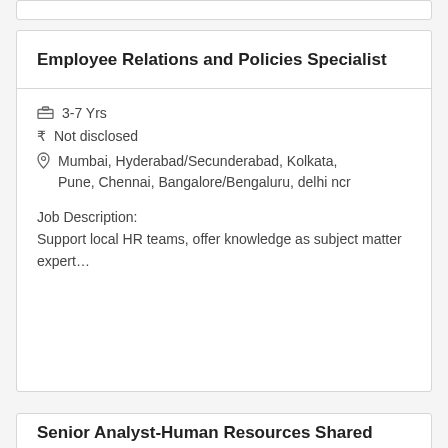Employee Relations and Policies Specialist
3-7 Yrs
Not disclosed
Mumbai, Hyderabad/Secunderabad, Kolkata, Pune, Chennai, Bangalore/Bengaluru, delhi ncr
Job Description:
Support local HR teams, offer knowledge as subject matter expert…
Today
Senior Analyst-Human Resources Shared Services (HRSS)